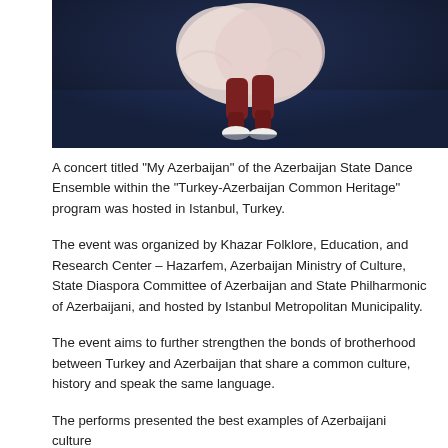[Figure (photo): A dancer in traditional Azerbaijani costume performing on a dark blue stage. The dancer wears a pale pink/white flowing dress with dark red trousers and white shoes. Only the lower body and skirt are visible against the dark stage floor.]
A concert titled “My Azerbaijan” of the Azerbaijan State Dance Ensemble within the “Turkey-Azerbaijan Common Heritage” program was hosted in Istanbul, Turkey.
The event was organized by Khazar Folklore, Education, and Research Center – Hazarfem, Azerbaijan Ministry of Culture, State Diaspora Committee of Azerbaijan and State Philharmonic of Azerbaijani, and hosted by Istanbul Metropolitan Municipality.
The event aims to further strengthen the bonds of brotherhood between Turkey and Azerbaijan that share a common culture, history and speak the same language.
The performs presented the best examples of Azerbaijani culture